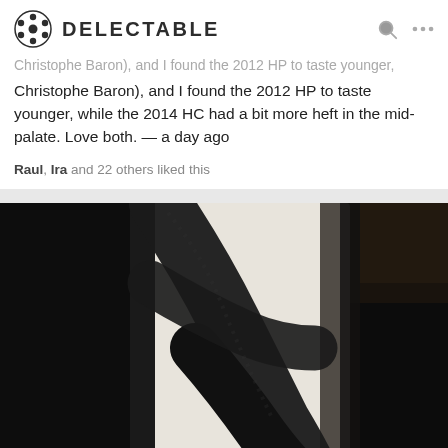DELECTABLE
Christophe Baron), and I found the 2012 HP to taste younger, while the 2014 HC had a bit more heft in the mid-palate. Love both. — a day ago
Raul, Ira and 22 others liked this
[Figure (photo): Close-up photo of a dark wine bottle label with black brushstroke design on white background, photographed in dim lighting]